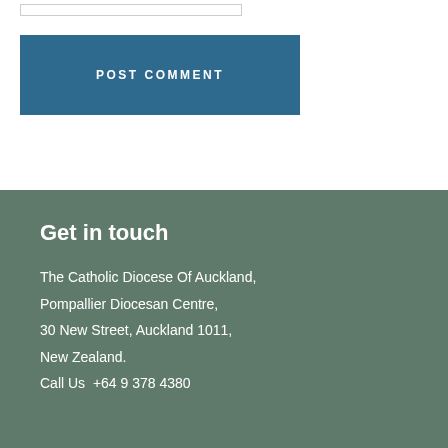[Figure (other): POST COMMENT button — a wide teal/dark blue rectangle with white uppercase bold text 'POST COMMENT']
Get in touch
The Catholic Diocese Of Auckland,
Pompallier Diocesan Centre,
30 New Street, Auckland 1011,
New Zealand.
Call Us  +64 9 378 4380